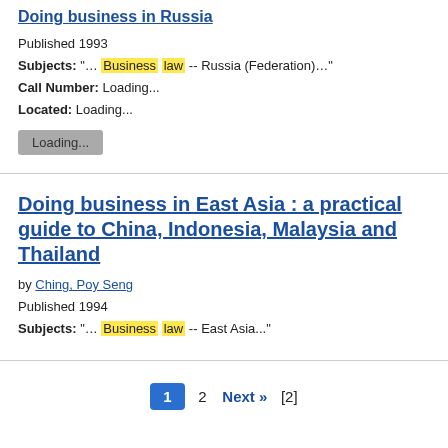Doing business in Russia
Published 1993
Subjects: "... Business law -- Russia (Federation)..."
Call Number: Loading...
Located: Loading...
Loading...
Doing business in East Asia : a practical guide to China, Indonesia, Malaysia and Thailand
by Ching, Poy Seng
Published 1994
Subjects: "... Business law -- East Asia..."
1 2 Next » [2]